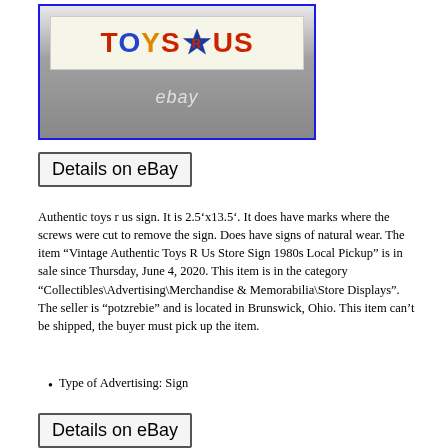[Figure (photo): Toys R Us store sign photographed on the ground, showing the colorful logo with red TOYS, blue star R, red US lettering on a white/cream background. eBay watermark visible. Blue border around the photo.]
Details on eBay
Authentic toys r us sign. It is 2.5’x13.5’. It does have marks where the screws were cut to remove the sign. Does have signs of natural wear. The item “Vintage Authentic Toys R Us Store Sign 1980s Local Pickup” is in sale since Thursday, June 4, 2020. This item is in the category “Collectibles\Advertising\Merchandise & Memorabilia\Store Displays”. The seller is “potzrebie” and is located in Brunswick, Ohio. This item can’t be shipped, the buyer must pick up the item.
Type of Advertising: Sign
Details on eBay